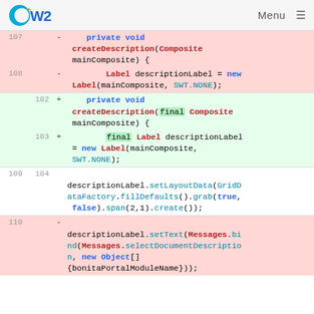OW2 | Menu
[Figure (screenshot): Code diff view showing Java method createDescription with removed lines (107-108, red) and added lines (102-103, green) with 'final' keyword added, plus context lines 109/104 and 110 showing descriptionLabel method calls]
107 - private void createDescription(Composite mainComposite) {
108 - Label descriptionLabel = new Label(mainComposite, SWT.NONE);
102 + private void createDescription(final Composite mainComposite) {
103 + final Label descriptionLabel = new Label(mainComposite, SWT.NONE);
109 104 descriptionLabel.setLayoutData(GridDataFactory.fillDefaults().grab(true, false).span(2,1).create());
110 - descriptionLabel.setText(Messages.bind(Messages.selectDocumentDescription, new Object[] {bonitaPortalModuleName}));